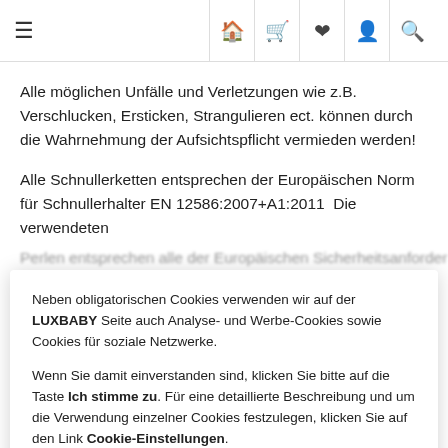≡  🏠 🛒 ♥ 👤 🔍
Alle möglichen Unfälle und Verletzungen wie z.B. Verschlucken, Ersticken, Strangulieren ect. können durch die Wahrnehmung der Aufsichtspflicht vermieden werden!
Alle Schnullerketten entsprechen der Europäischen Norm für Schnullerhalter EN 12586:2007+A1:2011  Die verwendeten Perlen entsprechen alle der Europäischen Sicherheitsanforderungen für…
Neben obligatorischen Cookies verwenden wir auf der LUXBABY Seite auch Analyse- und Werbe-Cookies sowie Cookies für soziale Netzwerke.

Wenn Sie damit einverstanden sind, klicken Sie bitte auf die Taste Ich stimme zu. Für eine detaillierte Beschreibung und um die Verwendung einzelner Cookies festzulegen, klicken Sie auf den Link Cookie-Einstellungen.
ICH STIMME ZU
COOKIE-EINSTELLUNGEN